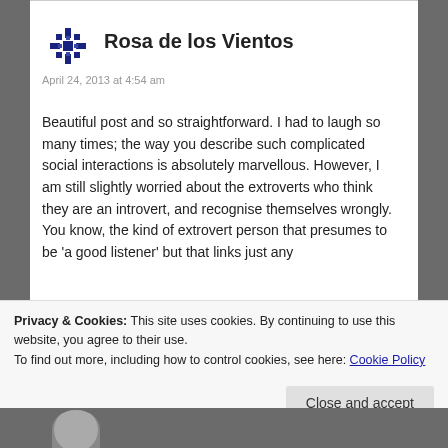Rosa de los Vientos
April 24, 2013 at 4:54 am
Beautiful post and so straightforward. I had to laugh so many times; the way you describe such complicated social interactions is absolutely marvellous. However, I am still slightly worried about the extroverts who think they are an introvert, and recognise themselves wrongly. You know, the kind of extrovert person that presumes to be 'a good listener' but that links just any
Privacy & Cookies: This site uses cookies. By continuing to use this website, you agree to their use.
To find out more, including how to control cookies, see here: Cookie Policy
Close and accept